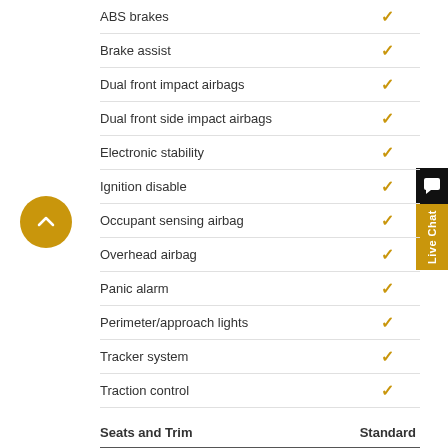| Feature | Standard |
| --- | --- |
| ABS brakes | ✓ |
| Brake assist | ✓ |
| Dual front impact airbags | ✓ |
| Dual front side impact airbags | ✓ |
| Electronic stability | ✓ |
| Ignition disable | ✓ |
| Occupant sensing airbag | ✓ |
| Overhead airbag | ✓ |
| Panic alarm | ✓ |
| Perimeter/approach lights | ✓ |
| Tracker system | ✓ |
| Traction control | ✓ |
Seats and Trim
| Feature | Standard |
| --- | --- |
| Manual driver lumbar support | ✓ |
| Rear seat centre armrest | ✓ |
| Split folding rear seat | ✓ |
Suspension/Handling